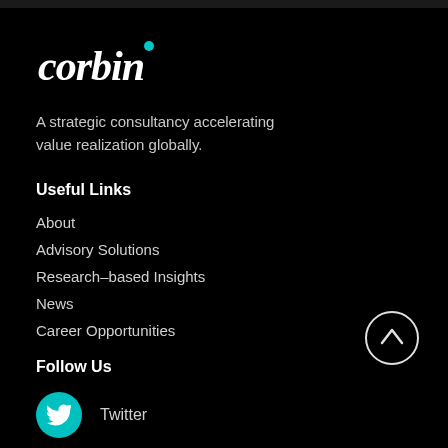[Figure (logo): Corbin logo in italic white text with a teal dot above the letter i]
A strategic consultancy accelerating value realization globally.
Useful Links
About
Advisory Solutions
Research–based Insights
News
Career Opportunities
Follow Us
Twitter